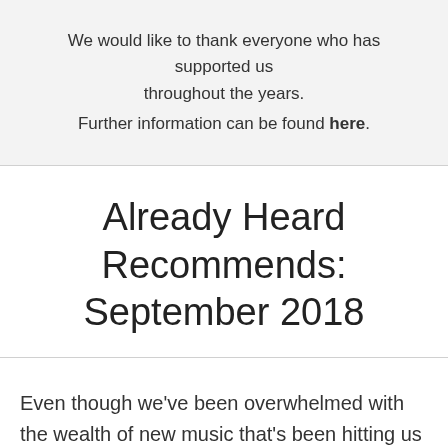We would like to thank everyone who has supported us throughout the years. Further information can be found here.
Already Heard Recommends: September 2018
Even though we've been overwhelmed with the wealth of new music that's been hitting us lately, it does mean we've been spoilt for choice when it has come to acts to highlight for "Recommends". Our monthly roundup of need-to-know bands is once again packed with names we think you'll be